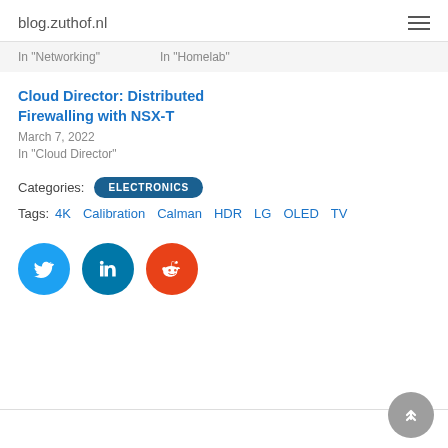blog.zuthof.nl
In "Networking"    In "Homelab"
Cloud Director: Distributed Firewalling with NSX-T
March 7, 2022
In "Cloud Director"
Categories: ELECTRONICS
Tags: 4K  Calibration  Calman  HDR  LG  OLED  TV
[Figure (illustration): Social share buttons: Twitter (blue circle), LinkedIn (dark blue circle), Reddit (orange circle)]